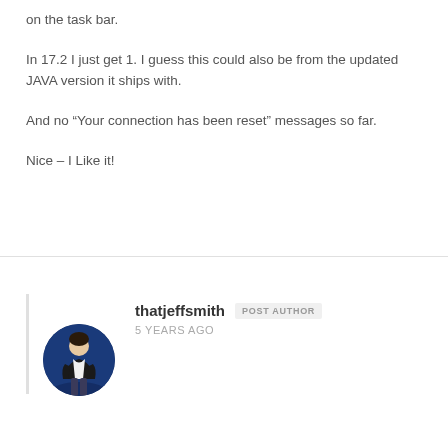on the task bar.
In 17.2 I just get 1. I guess this could also be from the updated JAVA version it ships with.
And no “Your connection has been reset” messages so far.
Nice – I Like it!
thatjeffsmith POST AUTHOR
5 YEARS AGO